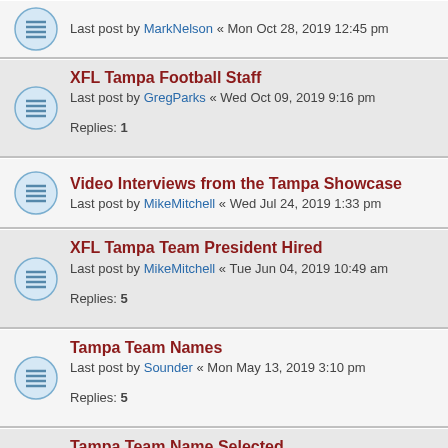Last post by MarkNelson « Mon Oct 28, 2019 12:45 pm
XFL Tampa Football Staff
Last post by GregParks « Wed Oct 09, 2019 9:16 pm
Replies: 1
Video Interviews from the Tampa Showcase
Last post by MikeMitchell « Wed Jul 24, 2019 1:33 pm
XFL Tampa Team President Hired
Last post by MikeMitchell « Tue Jun 04, 2019 10:49 am
Replies: 5
Tampa Team Names
Last post by Sounder « Mon May 13, 2019 3:10 pm
Replies: 5
Tampa Team Name Selected
Last post by Xfldcnews « Fri Apr 12, 2019 12:05 pm
Replies: 2
Spurrier v Trestman
Last post by XFL_FAN « Thu Apr 04, 2019 12:38 pm
Replies: 2
XFL to announce Tampa Bay Head Coach and General Manager
Last post by stem806 « Sun Mar 03, 2019 3:03 pm